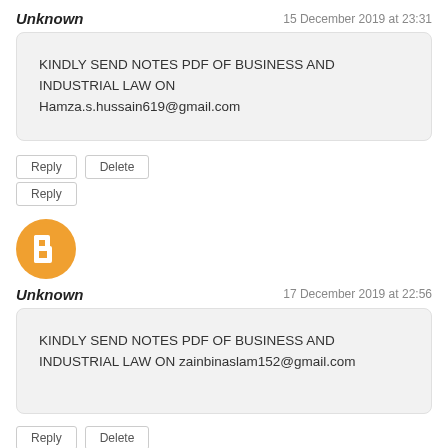Unknown
15 December 2019 at 23:31
KINDLY SEND NOTES PDF OF BUSINESS AND INDUSTRIAL LAW ON Hamza.s.hussain619@gmail.com
Reply | Delete
Reply
[Figure (illustration): Blogger avatar icon — orange circle with white B letter]
Unknown
17 December 2019 at 22:56
KINDLY SEND NOTES PDF OF BUSINESS AND INDUSTRIAL LAW ON zainbinaslam152@gmail.com
Reply | Delete